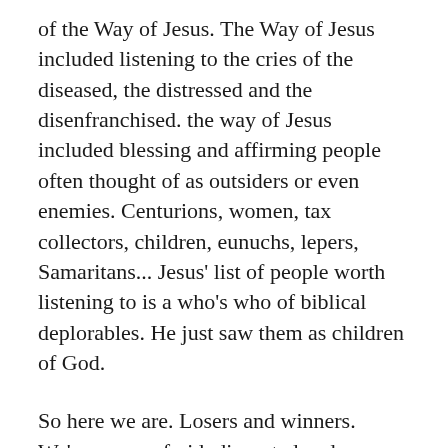of the Way of Jesus. The Way of Jesus included listening to the cries of the diseased, the distressed and the disenfranchised. the way of Jesus included blessing and affirming people often thought of as outsiders or even enemies. Centurions, women, tax collectors, children, eunuchs, lepers, Samaritans... Jesus' list of people worth listening to is a who's who of biblical deplorables. He just saw them as children of God.
So here we are. Losers and winners. We're angry, afraid, disgusted and distraught. And Jesus just sees us as children of God. But Jesus also calls us to follow his Way at this moment in history in this place. It begins with praying. It continues with listening. It includes feeling what others are feeling. It includes building lasting bridges of respect, decency and peace.